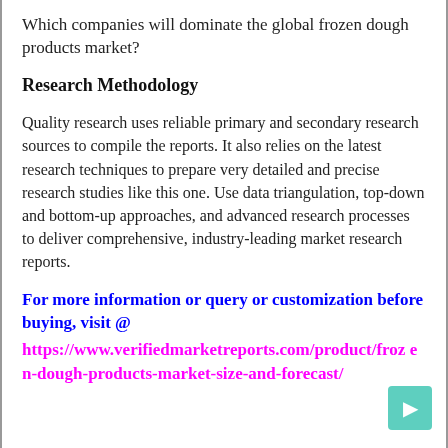Which companies will dominate the global frozen dough products market?
Research Methodology
Quality research uses reliable primary and secondary research sources to compile the reports. It also relies on the latest research techniques to prepare very detailed and precise research studies like this one. Use data triangulation, top-down and bottom-up approaches, and advanced research processes to deliver comprehensive, industry-leading market research reports.
For more information or query or customization before buying, visit @ https://www.verifiedmarketreports.com/product/frozen-dough-products-market-size-and-forecast/